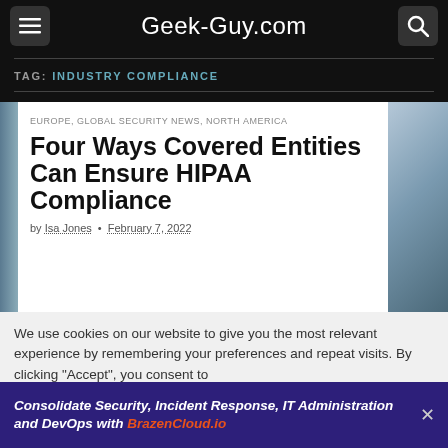Geek-Guy.com
TAG: INDUSTRY COMPLIANCE
EUROPE, GLOBAL SECURITY NEWS, NORTH AMERICA
Four Ways Covered Entities Can Ensure HIPAA Compliance
by Isa Jones • February 7, 2022
We use cookies on our website to give you the most relevant experience by remembering your preferences and repeat visits. By clicking "Accept", you consent to
Consolidate Security, Incident Response, IT Administration and DevOps with BrazenCloud.io